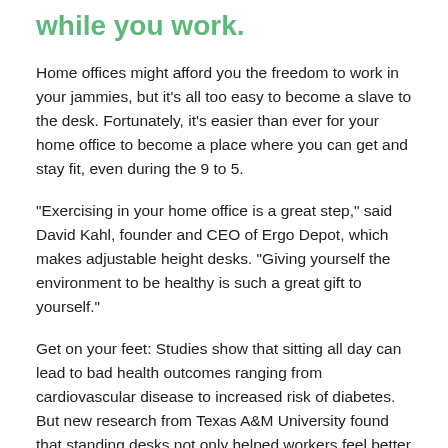while you work.
Home offices might afford you the freedom to work in your jammies, but it’s all too easy to become a slave to the desk. Fortunately, it’s easier than ever for your home office to become a place where you can get and stay fit, even during the 9 to 5.
“Exercising in your home office is a great step,” said David Kahl, founder and CEO of Ergo Depot, which makes adjustable height desks. “Giving yourself the environment to be healthy is such a great gift to yourself.”
Get on your feet: Studies show that sitting all day can lead to bad health outcomes ranging from cardiovascular disease to increased risk of diabetes. But new research from Texas A&M University found that standing desks not only helped workers feel better but also boosted their productivity. Enter adjustable height desks, which can be made taller or shorter to allow for sitting or standing. Although people often worry that standing during work is a chore, Kahl said the opposite is true. “It’s so invigorating